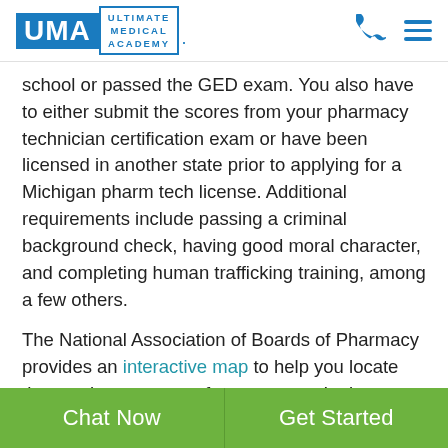UMA | ULTIMATE MEDICAL ACADEMY
school or passed the GED exam. You also have to either submit the scores from your pharmacy technician certification exam or have been licensed in another state prior to applying for a Michigan pharm tech license. Additional requirements include passing a criminal background check, having good moral character, and completing human trafficking training, among a few others.
The National Association of Boards of Pharmacy provides an interactive map to help you locate the regulatory agency for your state. It also includes a link to that agency's website, their contact information, and even downloadable newsletters in PDF format.
Chat Now | Get Started